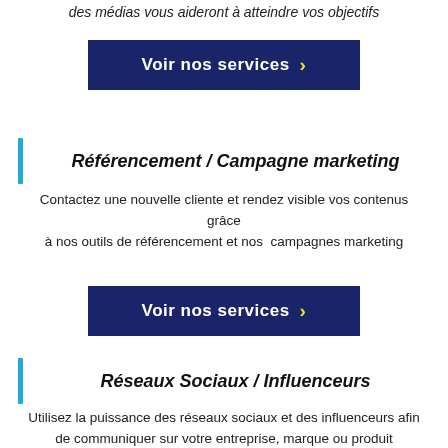des médias vous aideront à atteindre vos objectifs
Voir nos services >
Référencement / Campagne marketing
Contactez une nouvelle cliente et rendez visible vos contenus grâce à nos outils de référencement et nos campagnes marketing
Voir nos services >
Réseaux Sociaux / Influenceurs
Utilisez la puissance des réseaux sociaux et des influenceurs afin de communiquer sur votre entreprise, marque ou produit